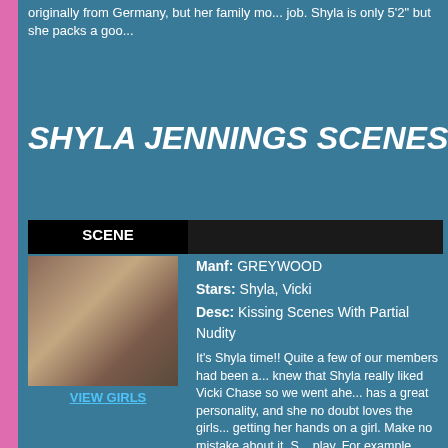originally from Germany, but her family mo... job. Shyla is only 5'2" but she packs a goo...
SHYLA JENNINGS SCENES:
| SCENE |  |
| --- | --- |
[Figure (photo): Two women posing together outdoors]
VIEW GIRLS
Manf: GREYWOOD
Stars: Shyla, Vicki
Desc: Kissing Scenes With Partial Nudity

It's Shyla time!! Quite a few of our members had been a... knew that Shyla really liked Vicki Chase so we went ahe... has a great personality, and she no doubt loves the girls... getting her hands on a girl. Make no mistake about it, S... play. For example, Shyla has amazing natural breasts a... sucking, sexy body worship, and superb ass worship w...